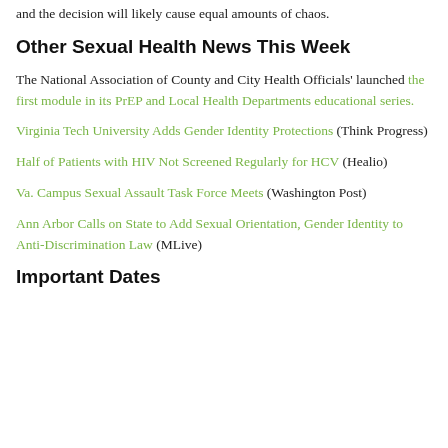and the decision will likely cause equal amounts of chaos.
Other Sexual Health News This Week
The National Association of County and City Health Officials' launched the first module in its PrEP and Local Health Departments educational series.
Virginia Tech University Adds Gender Identity Protections (Think Progress)
Half of Patients with HIV Not Screened Regularly for HCV (Healio)
Va. Campus Sexual Assault Task Force Meets (Washington Post)
Ann Arbor Calls on State to Add Sexual Orientation, Gender Identity to Anti-Discrimination Law (MLive)
Important Dates